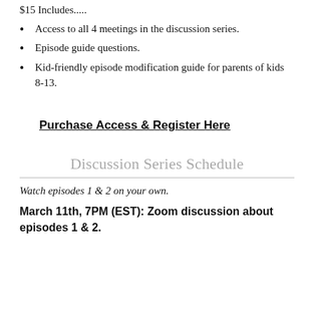$15 Includes.....
Access to all 4 meetings in the discussion series.
Episode guide questions.
Kid-friendly episode modification guide for parents of kids 8-13.
Purchase Access & Register Here
Discussion Series Schedule
Watch episodes 1 & 2 on your own.
March 11th, 7PM (EST): Zoom discussion about episodes 1 & 2.